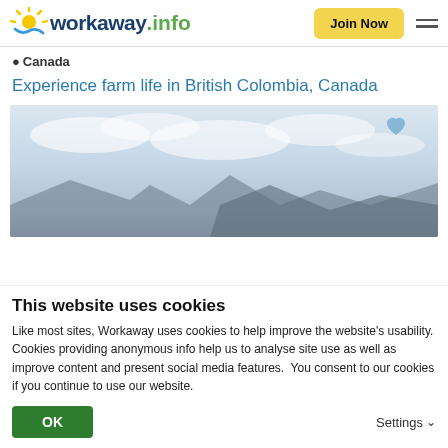workaway.info — Join Now
Canada
Experience farm life in British Colombia, Canada
[Figure (photo): Outdoor farm scene with cloudy sky and mountains/rooftop visible at bottom, heart/favorite icon in top right corner]
This website uses cookies
Like most sites, Workaway uses cookies to help improve the website's usability. Cookies providing anonymous info help us to analyse site use as well as improve content and present social media features.  You consent to our cookies if you continue to use our website.
OK    Settings